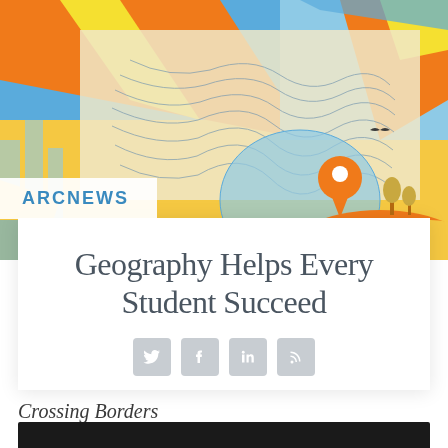[Figure (illustration): Colorful abstract geographic/mapping illustration with orange, blue, yellow shapes, topographic map lines, a location pin icon, globe silhouette, trees, and birds against a warm background.]
ARCNEWS
Geography Helps Every Student Succeed
[Figure (infographic): Social media sharing icons: Twitter bird, Facebook f, LinkedIn in, RSS feed symbol — all in gray rounded squares.]
Crossing Borders